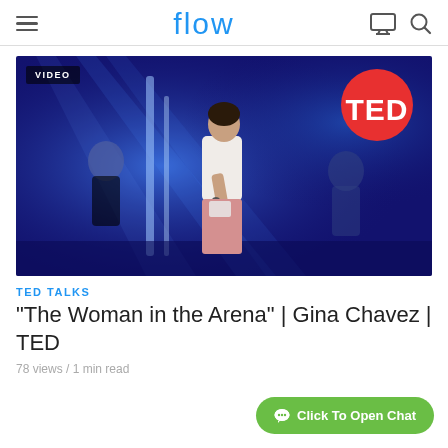flow
[Figure (photo): A woman singing on a stage with blue lighting and spotlight beams. She wears a white top and pink pants with a contest number badge. A TED logo circle appears in the upper right. A 'VIDEO' badge appears in the upper left corner of the image.]
TED TALKS
"The Woman in the Arena" | Gina Chavez | TED
78 views / 1 min read